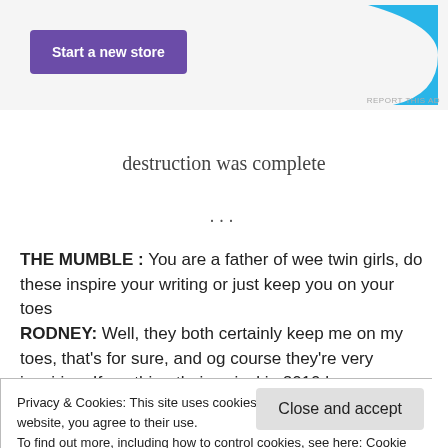[Figure (screenshot): Ad banner with purple 'Start a new store' button and cyan shape on the right]
destruction was complete
...
THE MUMBLE : You are a father of wee twin girls, do these inspire your writing or just keep you on your toes
RODNEY: Well, they both certainly keep me on my toes, that's for sure, and og course they're very inspiring. If anything,their arrival in 2010 has me writing even  more intensely than ever before. The race against time perhaps.  Everyday is full of
Privacy & Cookies: This site uses cookies. By continuing to use this website, you agree to their use.
To find out more, including how to control cookies, see here: Cookie Policy
Close and accept